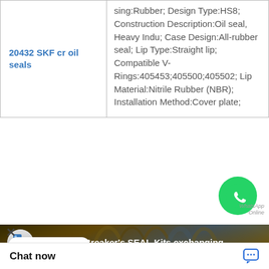| Product | Specifications |
| --- | --- |
| 20432 SKF cr oil seals | sing:Rubber; Design Type:HS8; Construction Description:Oil seal, Heavy Indu; Case Design:All-rubber seal; Lip Type:Straight lip; Compatible V-Rings:405453;405500;405502; Lip Material:Nitrile Rubber (NBR); Installation Method:Cover plate; |
[Figure (illustration): WhatsApp contact icon (green circle with phone handset)]
WhatsApp Online
[Figure (screenshot): Embedded YouTube video thumbnail titled 'Hydraulic Breaker's SEAL Kits exchanging' showing close-up of metallic cylindrical parts with blue and gold tones, with a red YouTube play button overlay.]
Chat now